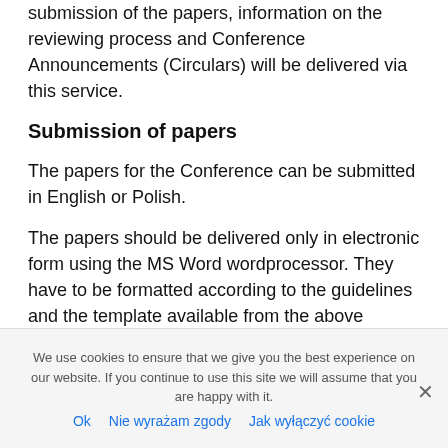submission of the papers, information on the reviewing process and Conference Announcements (Circulars) will be delivered via this service.
Submission of papers
The papers for the Conference can be submitted in English or Polish.
The papers should be delivered only in electronic form using the MS Word wordprocessor. They have to be formatted according to the guidelines and the template available from the above mentioned website: (download template).
We use cookies to ensure that we give you the best experience on our website. If you continue to use this site we will assume that you are happy with it.
Ok   Nie wyrażam zgody   Jak wyłączyć cookie